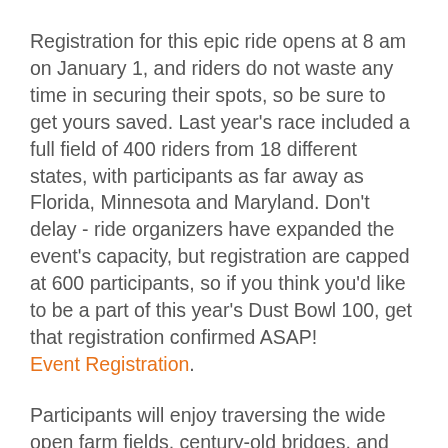Registration for this epic ride opens at 8 am on January 1, and riders do not waste any time in securing their spots, so be sure to get yours saved. Last year's race included a full field of 400 riders from 18 different states, with participants as far away as Florida, Minnesota and Maryland. Don't delay - ride organizers have expanded the event's capacity, but registration are capped at 600 participants, so if you think you'd like to be a part of this year's Dust Bowl 100, get that registration confirmed ASAP! Event Registration.
Participants will enjoy traversing the wide open farm fields, century-old bridges, and wooded creek valleys of west-central Indiana. This scenic journey is undertaken on some of the Midwest's finest gravel roads. The event is meant to be a challenging race for those who want to push themselves to see how quickly they can conquer all that the unique route throws at them... but, it's also meant to be a rewarding and memorable